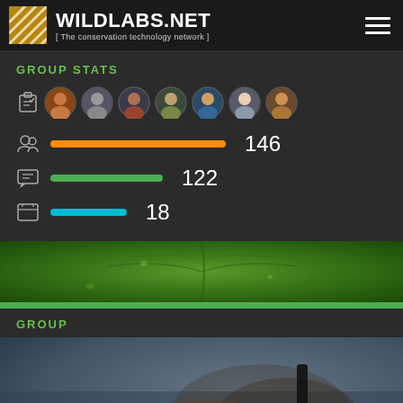WILDLABS.NET [ The conservation technology network ]
GROUP STATS
[Figure (infographic): Group stats panel showing member avatars and bars: 146 members (orange bar), 122 messages (green bar), 18 items (blue bar)]
[Figure (photo): Close-up photo of a large green leaf]
GROUP
[Figure (photo): Photo of a sea turtle being fitted with a biologging device, with text 'Biologging' overlaid]